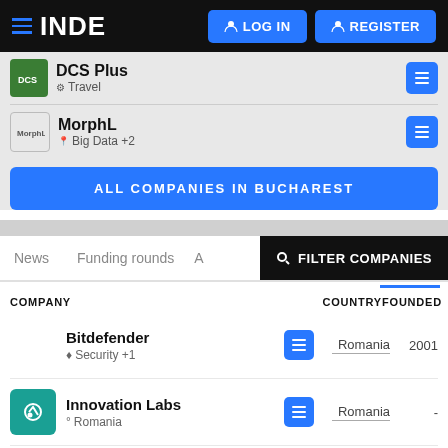INDE — LOG IN | REGISTER
DCS Plus — Travel
MorphL — Big Data +2
ALL COMPANIES IN BUCHAREST
News | Funding rounds | A... | FILTER COMPANIES
| COMPANY | COUNTRY | FOUNDED |
| --- | --- | --- |
| Bitdefender • Security +1 | Romania | 2001 |
| Innovation Labs • Romania | Romania | - |
| Carbon • Romania | Romania | - |